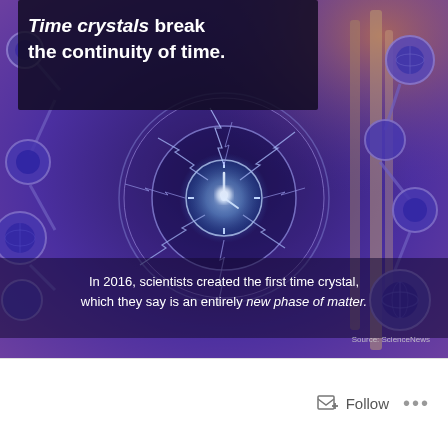[Figure (illustration): Science infographic showing a glowing clock face surrounded by lightning bolts and molecular structure balls on a purple/blue cosmic background. Text overlay at top reads 'Time crystals break the continuity of time.' Text at bottom reads 'In 2016, scientists created the first time crystal, which they say is an entirely new phase of matter.' Source: ScienceNews]
Follow